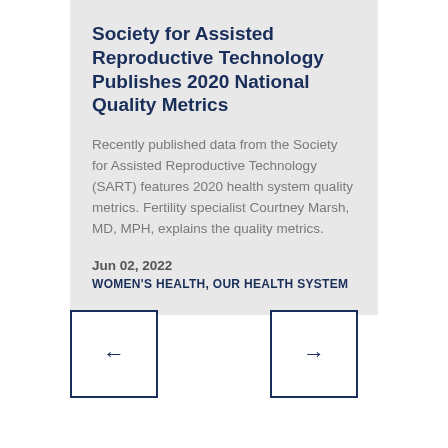Society for Assisted Reproductive Technology Publishes 2020 National Quality Metrics
Recently published data from the Society for Assisted Reproductive Technology (SART) features 2020 health system quality metrics. Fertility specialist Courtney Marsh, MD, MPH, explains the quality metrics.
Jun 02, 2022
WOMEN'S HEALTH, OUR HEALTH SYSTEM